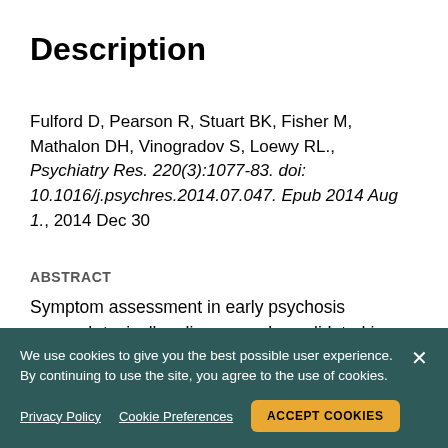Description
Fulford D, Pearson R, Stuart BK, Fisher M, Mathalon DH, Vinogradov S, Loewy RL., Psychiatry Res. 220(3):1077-83. doi: 10.1016/j.psychres.2014.07.047. Epub 2014 Aug 1., 2014 Dec 30
ABSTRACT
Symptom assessment in early psychosis research typically relies on scales validated in chronic schizophrenia samples. Our goal was to inform investigators who are selecting symptom scales for early psychosis research.
We use cookies to give you the best possible user experience. By continuing to use the site, you agree to the use of cookies.
Privacy Policy   Cookie Preferences   ACCEPT COOKIES